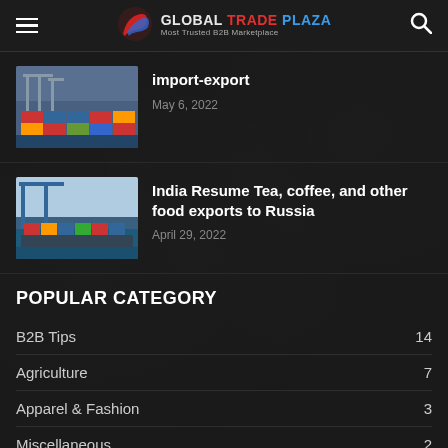GLOBAL TRADE PLAZA - Most Trusted B2B Marketplace
import-export
May 6, 2022
India Resume Tea, coffee, and other food exports to Russia
April 29, 2022
POPULAR CATEGORY
B2B Tips  14
Agriculture  7
Apparel & Fashion  3
Miscellaneous  2